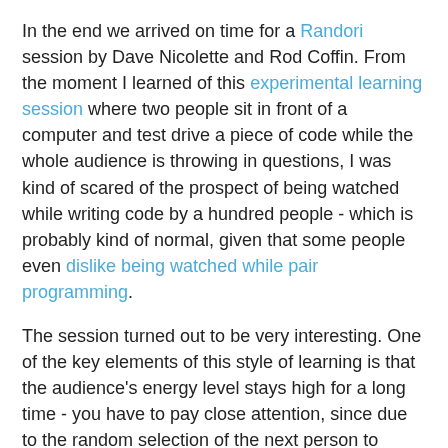In the end we arrived on time for a Randori session by Dave Nicolette and Rod Coffin. From the moment I learned of this experimental learning session where two people sit in front of a computer and test drive a piece of code while the whole audience is throwing in questions, I was kind of scared of the prospect of being watched while writing code by a hundred people - which is probably kind of normal, given that some people even dislike being watched while pair programming.
The session turned out to be very interesting. One of the key elements of this style of learning is that the audience's energy level stays high for a long time - you have to pay close attention, since due to the random selection of the next person to come to the front you could always be this person. And since you don't want to look like a fool when doing stuff in front of a hundred people (um, what was the problem, again?) my adrenaline level alone was enough to keep me awake.
The other thing I learned from this experience besides a new way to coach technical stuff is that there is a very good reason we do "pair programming" and not "group...